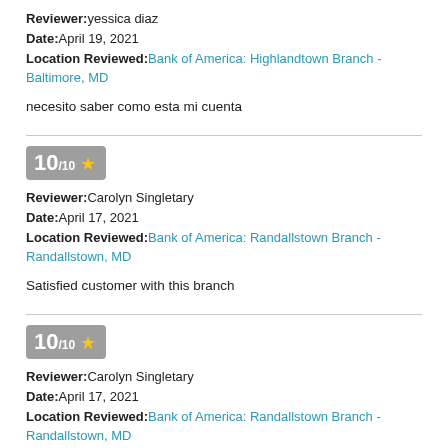Reviewer: yessica diaz
Date: April 19, 2021
Location Reviewed: Bank of America: Highlandtown Branch - Baltimore, MD
necesito saber como esta mi cuenta
10/10 ★
Reviewer: Carolyn Singletary
Date: April 17, 2021
Location Reviewed: Bank of America: Randallstown Branch - Randallstown, MD
Satisfied customer with this branch
10/10 ★
Reviewer: Carolyn Singletary
Date: April 17, 2021
Location Reviewed: Bank of America: Randallstown Branch - Randallstown, MD
Satisfied customer with this branch